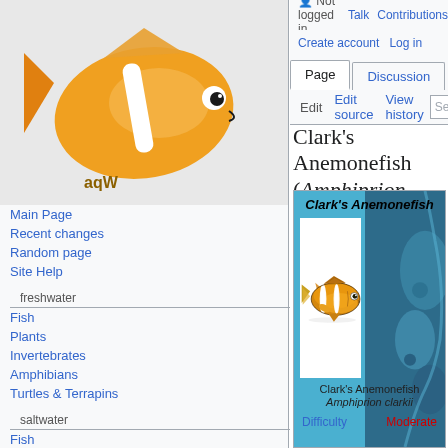Not logged in  Talk  Contributions  Create account  Log in
Page  Discussion  Edit  Edit source  View history  Search The A
Clark's Anemonefish (Amphiprion clarkii)
[Figure (photo): Clark's Anemonefish (Amphiprion clarkii) - yellow and orange clownfish with white stripes on white background, shown in an infobox with underwater blue background]
Clark's Anemonefish
Amphiprion clarkii
Main Page
Recent changes
Random page
Site Help
freshwater
Fish
Plants
Invertebrates
Amphibians
Turtles & Terrapins
saltwater
Fish
Difficulty  Moderate